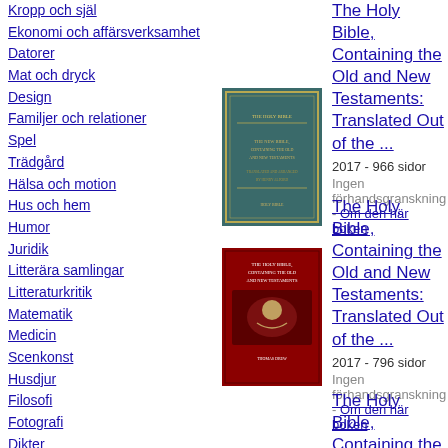Kropp och själ
Ekonomi och affärsverksamhet
Datorer
Mat och dryck
Design
Familjer och relationer
Spel
Trädgård
Hälsa och motion
Hus och hem
Humor
Juridik
Litterära samlingar
Litteraturkritik
Matematik
Medicin
Scenkonst
Husdjur
Filosofi
Fotografi
Dikter
Statsvetenskap
[Figure (photo): Book cover: The Holy Bible, Containing the Old and New Testaments: Translated Out of the ... (teal/gold cover)]
The Holy Bible, Containing the Old and New Testaments: Translated Out of the ...
2017 - 966 sidor
Ingen förhandsgranskning - Om den här boken
[Figure (photo): Book cover: The Holy Bible, Containing the Old and New Testaments: Translated Out of the ... (red/dark cover)]
The Holy Bible, Containing the Old and New Testaments: Translated Out of the ...
2017 - 796 sidor
Ingen förhandsgranskning - Om den här boken
The Holy Bible, Containing the Old and New Testaments: Translated Out of the ...